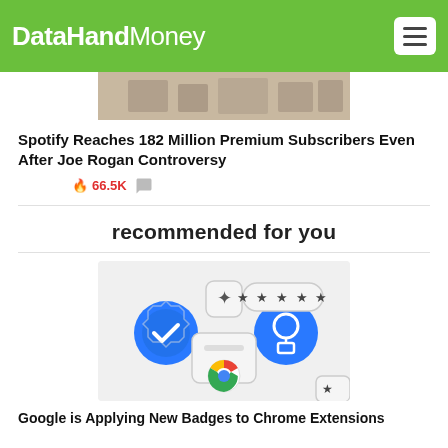DataHandMoney
[Figure (photo): Partial article image (historical/sepia toned photo) at top of page]
Spotify Reaches 182 Million Premium Subscribers Even After Joe Rogan Controversy
🔥 66.5K
recommended for you
[Figure (illustration): Google Chrome badge/extension graphic showing blue verified badge icons, star rating, puzzle piece, and Chrome logo on light grey background]
Google is Applying New Badges to Chrome Extensions